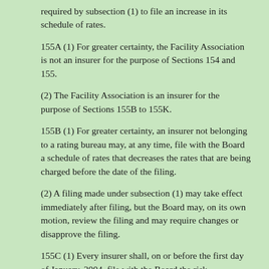required by subsection (1) to file an increase in its schedule of rates.
155A (1) For greater certainty, the Facility Association is not an insurer for the purpose of Sections 154 and 155.
(2) The Facility Association is an insurer for the purpose of Sections 155B to 155K.
155B (1) For greater certainty, an insurer not belonging to a rating bureau may, at any time, file with the Board a schedule of rates that decreases the rates that are being charged before the date of the filing.
(2) A filing made under subsection (1) may take effect immediately after filing, but the Board may, on its own motion, review the filing and may require changes or disapprove the filing.
155C (1) Every insurer shall, on or before the first day of January, 2004, file with the Board the risk-classification system that it is using in determining the rates for each category